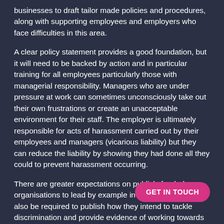businesses to draft tailor made policies and procedures, along with supporting employees and employers who face difficulties in this area.
A clear policy statement provides a good foundation, but it will need to be backed by action and in particular training for all employees particularly those with managerial responsibility. Managers who are under pressure at work can sometimes unconsciously take out their own frustrations or create an unacceptable environment for their staff. The employer is ultimately responsible for acts of harassment carried out by their employees and managers (vicarious liability) but they can reduce the liability by showing they had done all they could to prevent harassment occurring.
There are greater expectations on publicly funded organisations to lead by example in this area. Many will also be required to publish how they intend to tackle discrimination and provide evidence of working towards the objectives set out under the “Public Sector Equality Duty”.
[Figure (other): Pink rounded button with text GET IN TOUCH]
Consequences of harassment